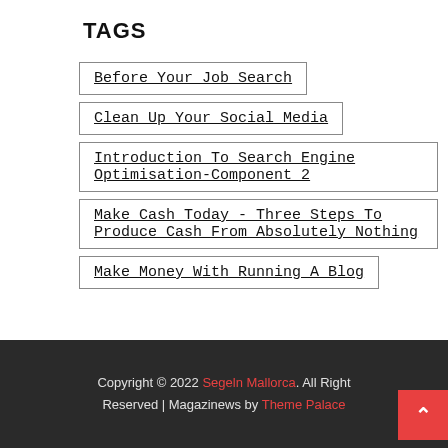TAGS
Before Your Job Search
Clean Up Your Social Media
Introduction To Search Engine Optimisation-Component 2
Make Cash Today - Three Steps To Produce Cash From Absolutely Nothing
Make Money With Running A Blog
Copyright © 2022 Segeln Mallorca. All Rights Reserved | Magazinews by Theme Palace